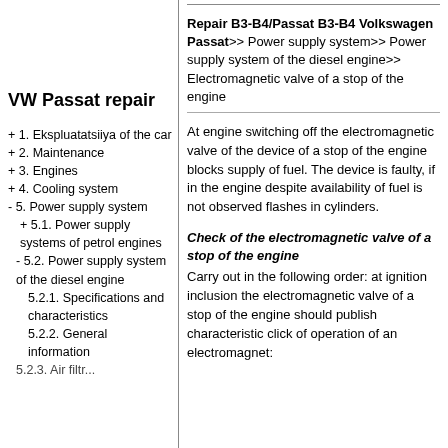VW Passat repair
+ 1. Ekspluatatsiiya of the car
+ 2. Maintenance
+ 3. Engines
+ 4. Cooling system
- 5. Power supply system
+ 5.1. Power supply systems of petrol engines
- 5.2. Power supply system of the diesel engine
5.2.1. Specifications and characteristics
5.2.2. General information
Repair B3-B4/Passat B3-B4 Volkswagen Passat>> Power supply system>> Power supply system of the diesel engine>> Electromagnetic valve of a stop of the engine
At engine switching off the electromagnetic valve of the device of a stop of the engine blocks supply of fuel. The device is faulty, if in the engine despite availability of fuel is not observed flashes in cylinders.
Check of the electromagnetic valve of a stop of the engine
Carry out in the following order: at ignition inclusion the electromagnetic valve of a stop of the engine should publish characteristic click of operation of an electromagnet: